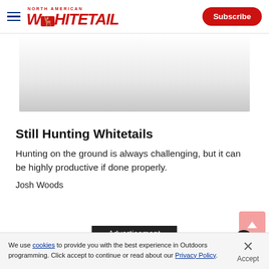North American Whitetail | Subscribe
[Figure (photo): Partial image area visible at top of article card, grey gradient placeholder]
Still Hunting Whitetails
Hunting on the ground is always challenging, but it can be highly productive if done properly.
Josh Woods
Advertisement
We use cookies to provide you with the best experience in Outdoors programming. Click accept to continue or read about our Privacy Policy.